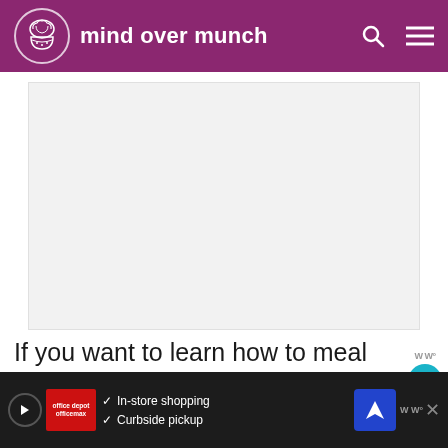mind over munch
[Figure (photo): Large light gray image placeholder area for a meal prep related photo]
If you want to learn how to meal prep in a way that is actually manageable for your own life, relying on inner wisdom–this course can be a g…in
[Figure (screenshot): Advertisement banner: Office Depot ad with In-store shopping and Curbside pickup options, navigation arrow icon, and WW logo]